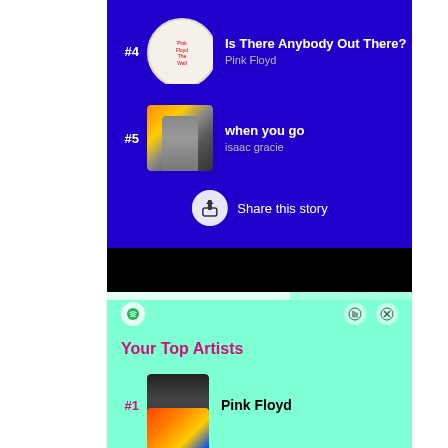[Figure (screenshot): Spotify Wrapped screenshot showing top songs on blue background. #4 Is There Anybody Out There? by Pink Floyd with The Wall album art. #5 when you go by isaac gracie with artist photo. Share this story button at bottom.]
[Figure (screenshot): Spotify Wrapped screenshot on teal/mint background showing Your Top Artists section. #1 Pink Floyd with band photo. Second artist partially visible at bottom.]